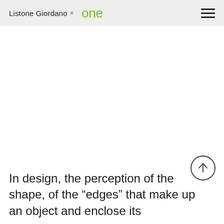Listone Giordano one
[Figure (other): Large blank white image area taking up the middle section of the page]
[Figure (other): Circular scroll-to-top button with upward arrow icon, positioned at bottom right]
In design, the perception of the shape, of the "edges" that make up an object and enclose its